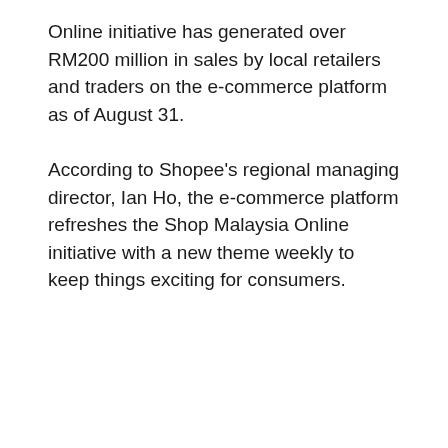Online initiative has generated over RM200 million in sales by local retailers and traders on the e-commerce platform as of August 31.
According to Shopee's regional managing director, Ian Ho, the e-commerce platform refreshes the Shop Malaysia Online initiative with a new theme weekly to keep things exciting for consumers.